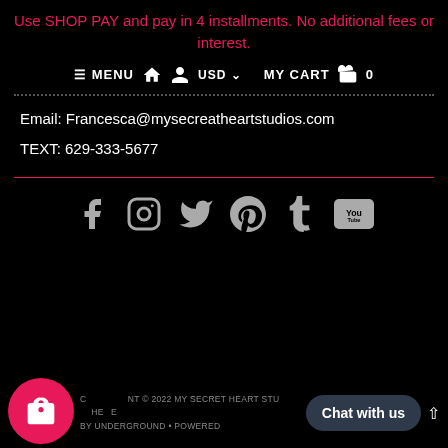Use SHOP PAY and pay in 4 installments. No additional fees or interest.
≡ MENU  🏠  👤  USD ∨   MY CART  🛍  0
Email: Francesca@mysecreatheartstudios.com
TEXT: 629-333-5677
[Figure (other): Social media icons row: Facebook, Instagram, Twitter, Pinterest, Tumblr, YouTube]
COPYRIGHT © 2022 MY SECRET HEART STUDIOS • THEME BY UNDERGROUND • POWERED ...
Chat with us